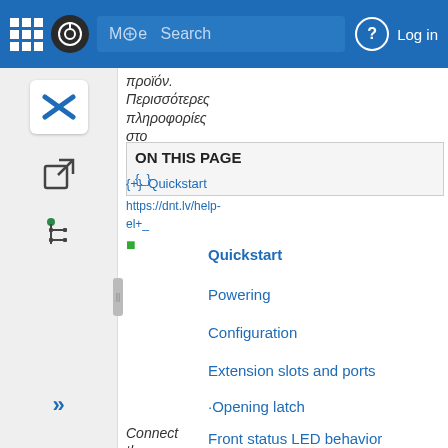Mode Search | Log in
προϊόν. Περισσότερες πληροφορίες στο
ON THIS PAGE
Quickstart
https://dnt.lv/help-el+_
Powering
Configuration
Extension slots and ports
Opening latch
Front status LED behavior
Mounting
Grounding
Reset button
Connect the power adapter to turn on the device. Open